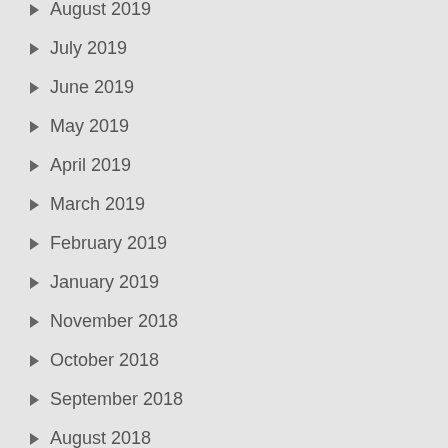August 2019
July 2019
June 2019
May 2019
April 2019
March 2019
February 2019
January 2019
November 2018
October 2018
September 2018
August 2018
July 2018